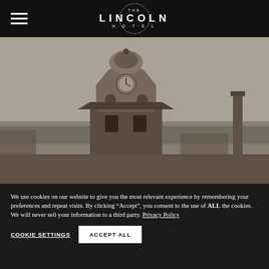THE LINCOLN HOTEL
[Figure (photo): Black and white historical photograph of a clock tower with a domed top, with a smokestack visible in the background and a city skyline.]
We use cookies on our website to give you the most relevant experience by remembering your preferences and repeat visits. By clicking "Accept", you consent to the use of ALL the cookies. We will never sell your information to a third party. Privacy Policy
COOKIE SETTINGS   ACCEPT ALL